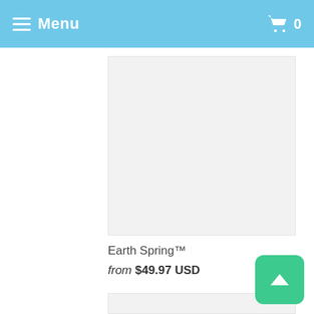Menu  0
[Figure (photo): Product image placeholder – light grey rectangle for Earth Spring product]
Earth Spring™
from $49.97 USD
[Figure (photo): Second product image placeholder – light grey rectangle]